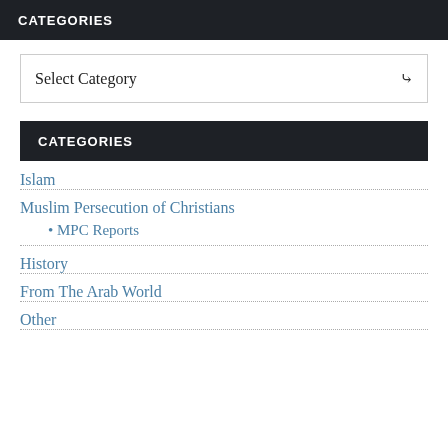CATEGORIES
Select Category
CATEGORIES
Islam
Muslim Persecution of Christians
• MPC Reports
History
From The Arab World
Other